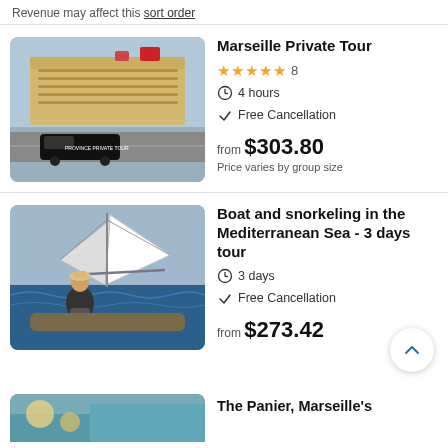Revenue may affect this sort order
[Figure (photo): Black van labeled 'Province Private Tour' parked in front of a large cruise ship]
Marseille Private Tour
★★★★★ 8
4 hours
Free Cancellation
from $303.80
Price varies by group size
[Figure (photo): Man on a sailboat on the Mediterranean Sea]
Boat and snorkeling in the Mediterranean Sea - 3 days tour
3 days
Free Cancellation
from $273.42
The Panier, Marseille's